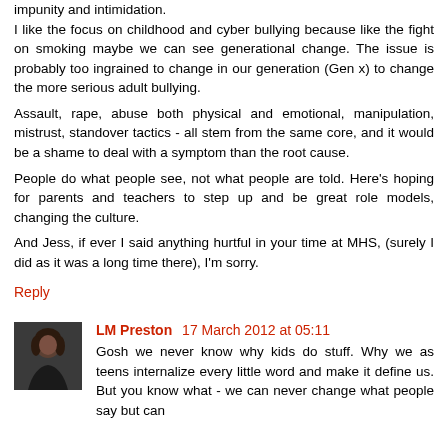impunity and intimidation.
I like the focus on childhood and cyber bullying because like the fight on smoking maybe we can see generational change. The issue is probably too ingrained to change in our generation (Gen x) to change the more serious adult bullying.
Assault, rape, abuse both physical and emotional, manipulation, mistrust, standover tactics - all stem from the same core, and it would be a shame to deal with a symptom than the root cause.
People do what people see, not what people are told. Here's hoping for parents and teachers to step up and be great role models, changing the culture.
And Jess, if ever I said anything hurtful in your time at MHS, (surely I did as it was a long time there), I'm sorry.
Reply
[Figure (photo): Avatar photo of LM Preston, a woman in dark clothing]
LM Preston  17 March 2012 at 05:11
Gosh we never know why kids do stuff. Why we as teens internalize every little word and make it define us. But you know what - we can never change what people say but can